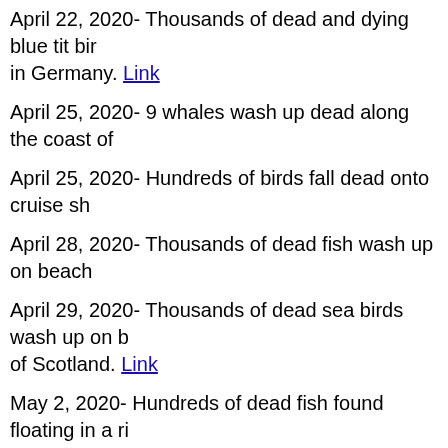April 22, 2020- Thousands of dead and dying blue tit birds in Germany. Link
April 25, 2020- 9 whales wash up dead along the coast of
April 25, 2020- Hundreds of birds fall dead onto cruise sh
April 28, 2020- Thousands of dead fish wash up on beach
April 29, 2020- Thousands of dead sea birds wash up on beaches of Scotland. Link
May 2, 2020- Hundreds of dead fish found floating in a ri
May3, 2020- Dozens of tons of dead fish wash up on a river in Province, Vietnam. Link
May 4, 2020- Hundreds of sea birds dead, fish and mussels in Oslo, Norway. Link
May 4, 2020- Dozens of sea birds found dead, 'a mystery'
May 5, 2020- Massive die off of fish in the Montelindo R
May 5, 2020- 100+ livestock killed by lightning in Kashm
May 7, 2020- Hundreds of dead fish appear in a river in S